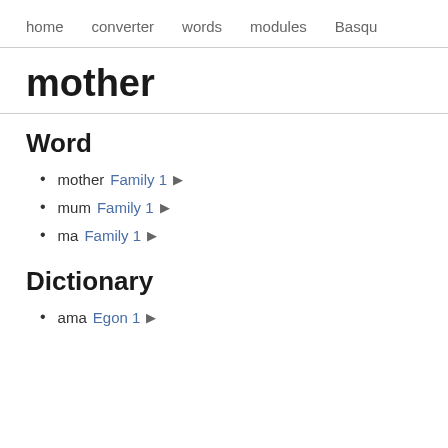home   converter   words   modules   Basqu
mother
Word
mother Family 1 🔊
mum Family 1 🔊
ma Family 1 🔊
Dictionary
ama Egon 1 🔊